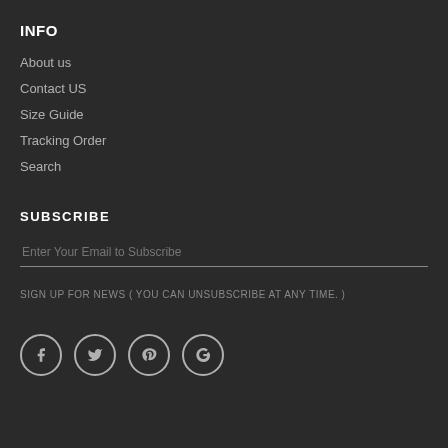INFO
About us
Contact US
Size Guide
Tracking Order
Search
SUBSCRIBE
Enter Your Email to Subscribe
SIGN UP FOR NEWS ( YOU CAN UNSUBSCRIBE AT ANY TIME. )
[Figure (other): Social media icons: Facebook, Twitter, Pinterest, Google+]